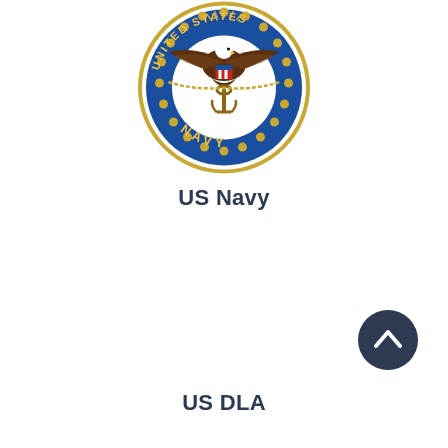[Figure (logo): United States Navy official seal/emblem: circular blue field with golden eagle holding anchor, surrounded by chain border with text 'UNITED STATES NAVY' and 'NAVY' at bottom, rope border]
US Navy
[Figure (other): Dark navy blue circular scroll-to-top button with upward chevron arrow icon]
US DLA